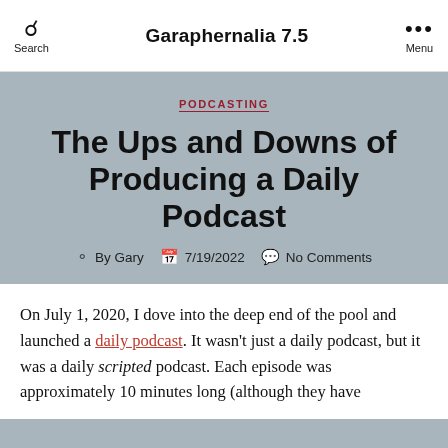Search | Garaphernalia 7.5 | Menu
PODCASTING
The Ups and Downs of Producing a Daily Podcast
By Gary  7/19/2022  No Comments
On July 1, 2020, I dove into the deep end of the pool and launched a daily podcast. It wasn't just a daily podcast, but it was a daily scripted podcast. Each episode was approximately 10 minutes long (although they have